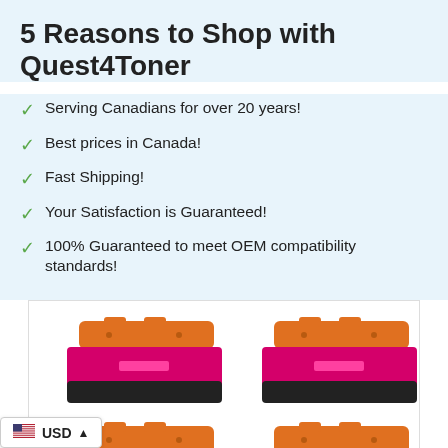5 Reasons to Shop with Quest4Toner
Serving Canadians for over 20 years!
Best prices in Canada!
Fast Shipping!
Your Satisfaction is Guaranteed!
100% Guaranteed to meet OEM compatibility standards!
[Figure (photo): Four magenta toner cartridges arranged in a 2x2 grid, showing orange tops and magenta/black bodies]
USD